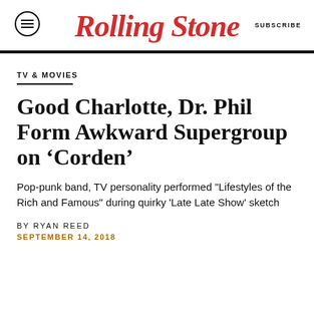Rolling Stone — SUBSCRIBE
TV & MOVIES
Good Charlotte, Dr. Phil Form Awkward Supergroup on ‘Corden’
Pop-punk band, TV personality performed "Lifestyles of the Rich and Famous" during quirky 'Late Late Show' sketch
BY RYAN REED
SEPTEMBER 14, 2018